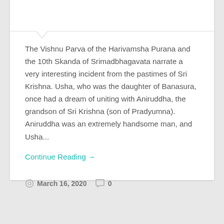The Vishnu Parva of the Harivamsha Purana and the 10th Skanda of Srimadbhagavata narrate a very interesting incident from the pastimes of Sri Krishna. Usha, who was the daughter of Banasura, once had a dream of uniting with Aniruddha, the grandson of Sri Krishna (son of Pradyumna). Aniruddha was an extremely handsome man, and Usha...
Continue Reading →
March 16, 2020  0